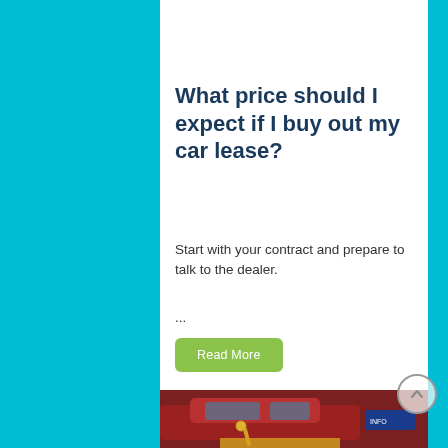[Figure (photo): Close-up of a car steering wheel or car interior element, dark/blurry]
What price should I expect if I buy out my car lease?
Start with your contract and prepare to talk to the dealer.
...
Read More
[Figure (photo): Red car with keys in the foreground, blurry dealership background]